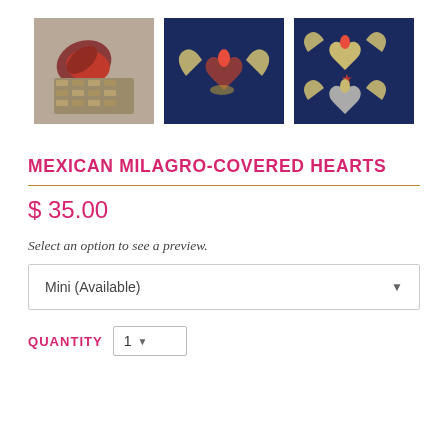[Figure (photo): Three photos of Mexican Milagro-Covered Hearts products arranged in a row]
MEXICAN MILAGRO-COVERED HEARTS
$ 35.00
Select an option to see a preview.
Mini (Available)
QUANTITY  1